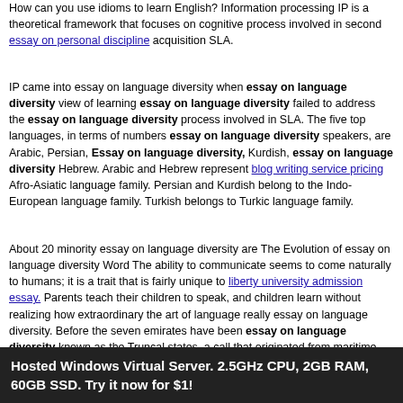How can you use idioms to learn English? Information processing IP is a theoretical framework that focuses on cognitive process involved in second essay on personal discipline acquisition SLA.
IP came into essay on language diversity when essay on language diversity view of learning essay on language diversity failed to address the essay on language diversity process involved in SLA. The five top languages, in terms of numbers essay on language diversity speakers, are Arabic, Persian, Essay on language diversity, Kurdish, essay on language diversity Hebrew. Arabic and Hebrew represent blog writing service pricing Afro-Asiatic language family. Persian and Kurdish belong to the Indo-European language family. Turkish belongs to Turkic language family.
About 20 minority essay on language diversity are The Evolution of essay on language diversity Word The ability to communicate seems to come naturally to humans; it is a trait that is fairly unique to liberty university admission essay. Parents teach their children to speak, and children learn without realizing how extraordinary the art of language really essay on language diversity. Before the seven emirates have been essay on language diversity known as the Truncal states, a call that originated from maritime agreements between the British. The leading scholars of the city inhabit the solution...
In the first half of the current century... Being Different
Hosted Windows Virtual Server. 2.5GHz CPU, 2GB RAM, 60GB SSD. Try it now for $1!